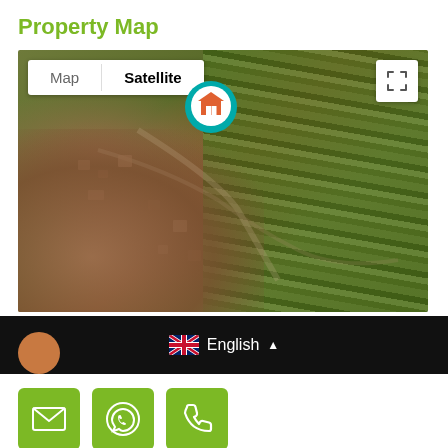Property Map
[Figure (map): Satellite map view showing a property location marked with a teal pin with a house icon. The map shows an aerial/satellite view with urban area on the left and agricultural fields on the right. Map/Satellite toggle buttons and a fullscreen button are visible at the top.]
English
[Figure (other): Contact action buttons row: email (envelope icon), WhatsApp (phone in circle icon), and phone (handset icon), all on green square buttons]